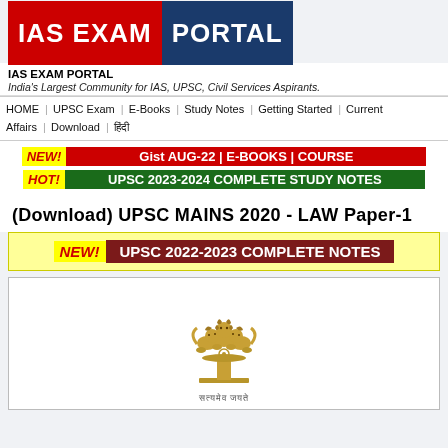[Figure (logo): IAS EXAM PORTAL logo with red and blue background blocks]
IAS EXAM PORTAL
India's Largest Community for IAS, UPSC, Civil Services Aspirants.
HOME | UPSC Exam | E-Books | Study Notes | Getting Started | Current Affairs | Download | हिंदी
NEW! Gist AUG-22 | E-BOOKS | COURSE
HOT! UPSC 2023-2024 COMPLETE STUDY NOTES
(Download) UPSC MAINS 2020 - LAW Paper-1
NEW! UPSC 2022-2023 COMPLETE NOTES
[Figure (illustration): Ashoka Pillar emblem of India (golden lion capital) with text 'सत्यमेव जयते' below]